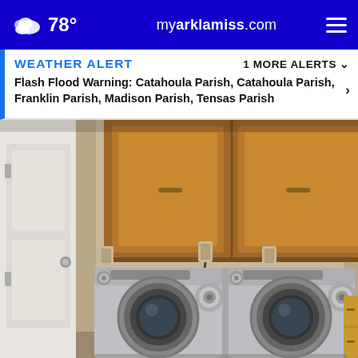78° myarklamiss.com
WEATHER ALERT   1 MORE ALERTS
Flash Flood Warning: Catahoula Parish, Catahoula Parish, Franklin Parish, Madison Parish, Tensas Parish
[Figure (photo): Indoor laundry room with two front-loading washing machines (silver/gray) side by side, wooden cabinets above, beige walls, white door on the left, window on the right.]